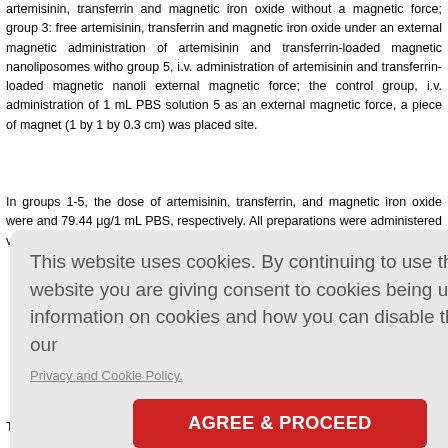artemisinin, transferrin and magnetic iron oxide without a magnetic force; group 3: free artemisinin, transferrin and magnetic iron oxide under an external magnetic administration of artemisinin and transferrin-loaded magnetic nanoliposomes witho group 5, i.v. administration of artemisinin and transferrin-loaded magnetic nanoli external magnetic force; the control group, i.v. administration of 1 mL PBS solution 5 as an external magnetic force, a piece of magnet (1 by 1 by 0.3 cm) was placed site.
In groups 1-5, the dose of artemisinin, transferrin, and magnetic iron oxide were and 79.44 μg/1 mL PBS, respectively. All preparations were administered via the infusion. These mice were used for subsequent experiments.
[Figure (screenshot): Cookie consent banner with gray rounded rectangle background. Text reads: 'This website uses cookies. By continuing to use this website you are giving consent to cookies being used. For information on cookies and how you can disable them visit our Privacy and Cookie Policy.' A red 'AGREE & PROCEED' button is centered at the bottom.]
To evaluate the antitumor effect of i.v.-administered artemisinin, transferrin and